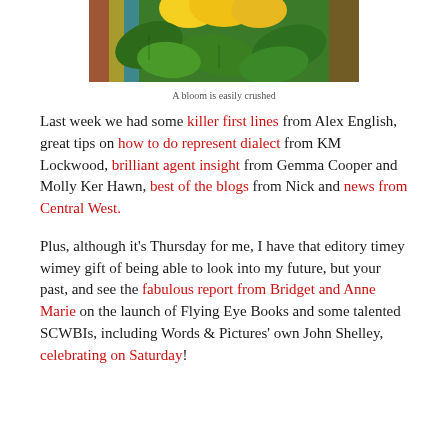[Figure (photo): Photo of yellow flowers with green leaves, partially cropped at top]
A bloom is easily crushed
Last week we had some killer first lines from Alex English, great tips on how to do represent dialect from KM Lockwood, brilliant agent insight from Gemma Cooper and Molly Ker Hawn, best of the blogs from Nick and news from Central West.
Plus, although it's Thursday for me, I have that editory timey wimey gift of being able to look into my future, but your past, and see the fabulous report from Bridget and Anne Marie on the launch of Flying Eye Books and some talented SCWBIs, including Words & Pictures' own John Shelley, celebrating on Saturday!